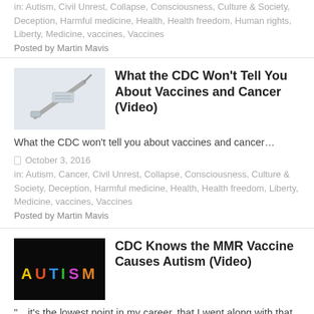in: Autism, Civil Unrest, Collapse, Consciousness, Culture & Society, Deception, Harmful medicine, Health, Health freedom, Human rights, Liberty, Medicine, vaccines, Vaccines
Posted by Martin Mavis
[Figure (photo): Close-up photo of a syringe/needle against a light background]
What the CDC Won't Tell You About Vaccines and Cancer (Video)
What the CDC won't tell you about vaccines and cancer…
October 3, 2016
in: Autism, Cancer, Civil Unrest, Collapse, Consciousness, Culture & Society, Deception, Harmful medicine, Health, Health freedom, Liberty, Medicine, vaccines, Vaccines
Posted by Martin Mavis
[Figure (photo): Colorful AUTISM letters on dark background]
CDC Knows the MMR Vaccine Causes Autism (Video)
"…it's the lowest point in my career, that I went along with that paper." – CDC Whistleblower William Thompson, PhD
September 30, 2016
in: Autism, Civil Unrest, Collapse, Consciousness, Crime, Crime, Culture & Society, Deception, Health, Health freedom, Liberty, Vaccines